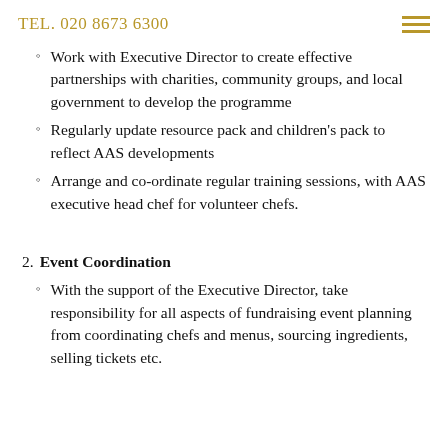TEL. 020 8673 6300
Work with Executive Director to create effective partnerships with charities, community groups, and local government to develop the programme
Regularly update resource pack and children's pack to reflect AAS developments
Arrange and co-ordinate regular training sessions, with AAS executive head chef for volunteer chefs.
2. Event Coordination
With the support of the Executive Director, take responsibility for all aspects of fundraising event planning from coordinating chefs and menus, sourcing ingredients, selling tickets etc.